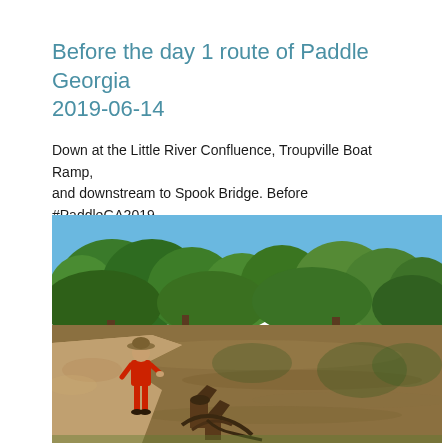Before the day 1 route of Paddle Georgia 2019-06-14
Down at the Little River Confluence, Troupville Boat Ramp, and downstream to Spook Bridge. Before #PaddleGA2019.
[Figure (photo): A person in a red outfit and hat stands on a sandy riverbank next to a muddy brown river. Tree stumps are visible in the foreground and lush green trees line both banks under a blue sky.]